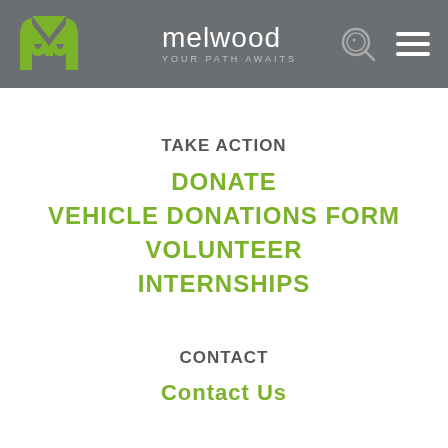melwood YOUR PATH AWAITS
TAKE ACTION
DONATE
VEHICLE DONATIONS FORM
VOLUNTEER
INTERNSHIPS
CONTACT
Contact Us